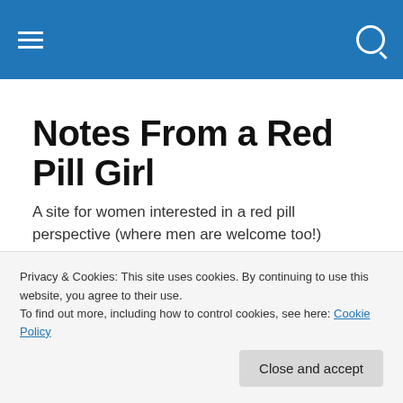Notes From a Red Pill Girl [navigation bar]
Notes From a Red Pill Girl
A site for women interested in a red pill perspective (where men are welcome too!)
Russian Guys
Much has been written in the manosphere of the feminine
Privacy & Cookies: This site uses cookies. By continuing to use this website, you agree to their use.
To find out more, including how to control cookies, see here: Cookie Policy